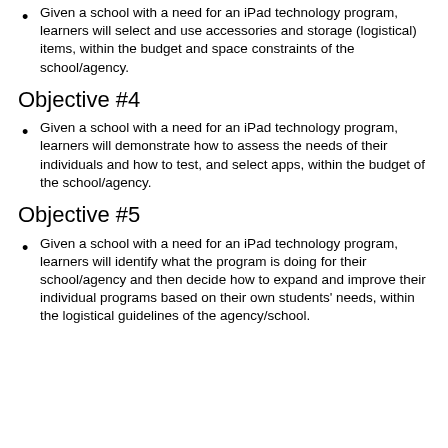Given a school with a need for an iPad technology program, learners will select and use accessories and storage (logistical) items, within the budget and space constraints of the school/agency.
Objective #4
Given a school with a need for an iPad technology program, learners will demonstrate how to assess the needs of their individuals and how to test, and select apps, within the budget of the school/agency.
Objective #5
Given a school with a need for an iPad technology program, learners will identify what the program is doing for their school/agency and then decide how to expand and improve their individual programs based on their own students' needs, within the logistical guidelines of the agency/school.